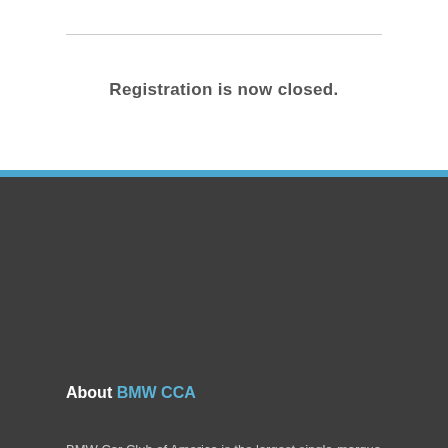Registration is now closed.
About BMW CCA
BMW Car Club of America is the largest single-marque car club in the world.
2350 Highway 101 South
Greer, SC 29651
864-250-0022
Contact Us